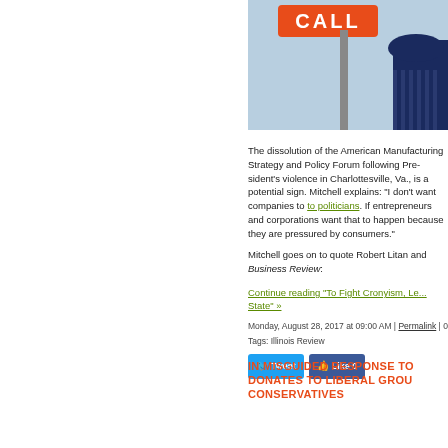[Figure (illustration): Illustration showing a 'CALL' banner sign over a Capitol building background with light blue sky]
The dissolution of the American Manufacturing Strategy and Policy Forum following President's violence in Charlottesville, Va., is a potential sign. Mitchell explains: "I don't want companies to politicians. If entrepreneurs and corporations want that to happen because they are pressured by consumers."
Mitchell goes on to quote Robert Litan and Business Review:
Continue reading "To Fight Cronyism, Le... State" »
Monday, August 28, 2017 at 09:00 AM | Permalink | ...
Tags: Illinois Review
IN MISGUIDED RESPONSE TO... DONATES TO LIBERAL GROU... CONSERVATIVES